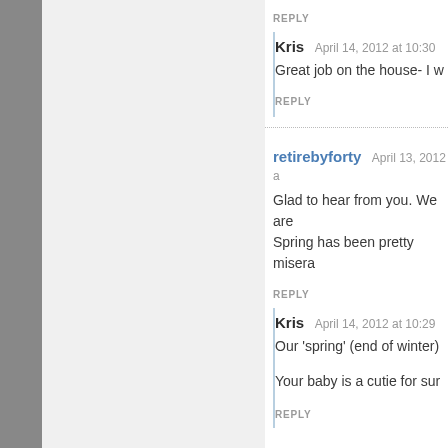REPLY
Kris   April 14, 2012 at 10:30
Great job on the house- I w
REPLY
retirebyforty   April 13, 2012
Glad to hear from you. We are Spring has been pretty misera
REPLY
Kris   April 14, 2012 at 10:29
Our ‘spring’ (end of winter)
Your baby is a cutie for sur
REPLY